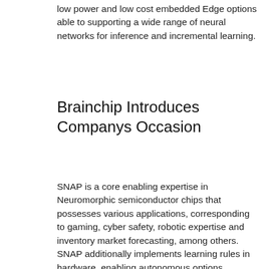low power and low cost embedded Edge options able to supporting a wide range of neural networks for inference and incremental learning.
Brainchip Introduces Companys Occasion
SNAP is a core enabling expertise in Neuromorphic semiconductor chips that possesses various applications, corresponding to gaming, cyber safety, robotic expertise and inventory market forecasting, among others. SNAP additionally implements learning rules in hardware, enabling autonomous options extraction directly from input information with out the necessity for any software processing. Its subsidiaries include BrainChip Inc., AZK Merger Subsidiary Inc., Aziana Exploration Corporation and Eternal Resources Pty Ltd. This 12 months, BrainChip partnered with Socionext, a frontrunner in advanced SoC solutions for video and imaging methods, to offer a complete low-power AI Edge network for vision, audio and good transducers with out the need for a host processor or